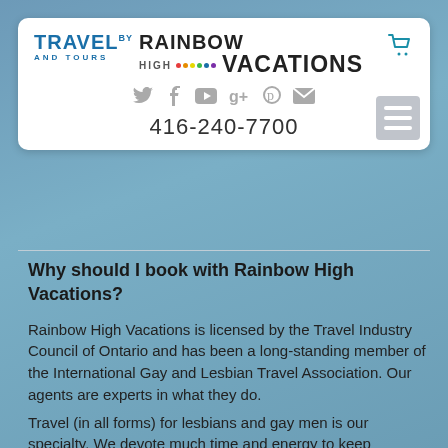[Figure (logo): Travel by Rainbow High Vacations logo with social media icons and phone number 416-240-7700]
Why should I book with Rainbow High Vacations?
Rainbow High Vacations is licensed by the Travel Industry Council of Ontario and has been a long-standing member of the International Gay and Lesbian Travel Association. Our agents are experts in what they do.
Travel (in all forms) for lesbians and gay men is our specialty. We devote much time and energy to keep